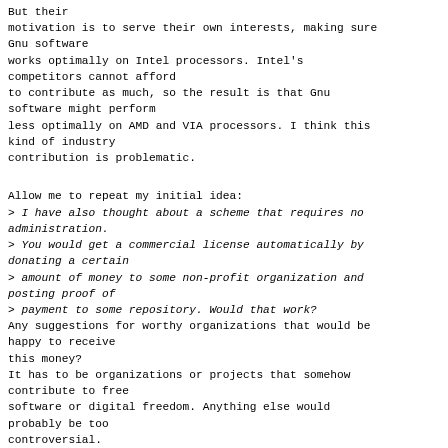But their motivation is to serve their own interests, making sure Gnu software works optimally on Intel processors. Intel's competitors cannot afford to contribute as much, so the result is that Gnu software might perform less optimally on AMD and VIA processors. I think this kind of industry contribution is problematic.
Allow me to repeat my initial idea:
> I have also thought about a scheme that requires no administration.
> You would get a commercial license automatically by donating a certain
> amount of money to some non-profit organization and posting proof of
> payment to some repository. Would that work?
Any suggestions for worthy organizations that would be happy to receive this money?
It has to be organizations or projects that somehow contribute to free software or digital freedom. Anything else would probably be too controversial.